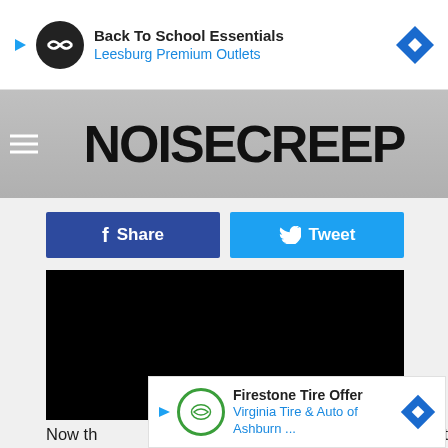[Figure (screenshot): Advertisement banner: Back To School Essentials - Leesburg Premium Outlets]
[Figure (logo): Noisecreep website header logo on grey background with hamburger menu icon]
[Figure (other): Facebook Share button (dark blue) and Twitter Tweet button (light blue)]
[Figure (photo): Black video embed area]
One day after the operation, Sharon issued an update on the rocker's health and stated that he is "doing well and on the road to..."
[Figure (screenshot): Advertisement banner: Firestone Tire Offer - Virginia Tire & Auto of Ashburn ...]
Now th...ement